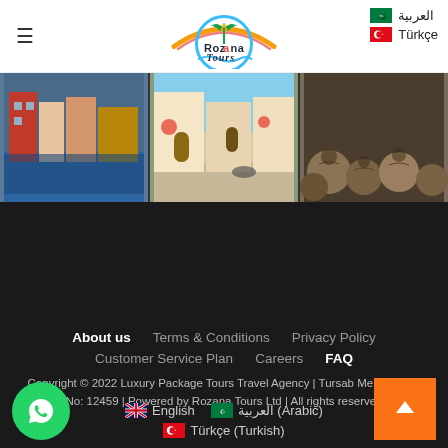Rozana Tours — العربية | Türkçe
[Figure (photo): Three travel photos: colorful waterfront buildings, a Mediterranean street scene, and ancient stone artifacts/ruins]
About us  Terms & Conditions  Privacy Policy  Customer Service Plan  Careers  FAQ
Copyright © 2022 Luxury Package Tours Travel Agency | Tursab Membership No: 12459 | Powered by Rozana Tours Ltd | All rights reserved
English  العربية (Arabic)  Türkçe (Turkish)